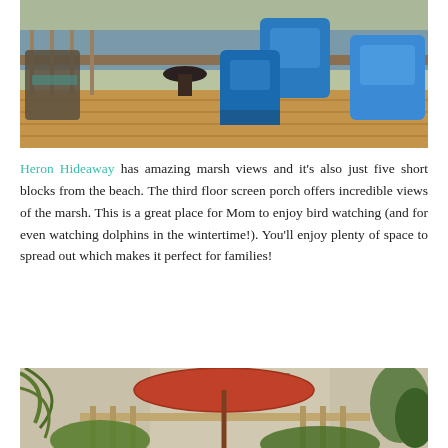[Figure (photo): Outdoor deck with patio furniture: dark metal chairs with cushions on the left, and bright blue Adirondack chairs on the right, wooden deck railing visible in background]
Heron Hideaway has amazing marsh views and it's also just five short blocks from the beach. The third floor screen porch offers incredible views of the marsh. This is a great place for Mom to enjoy bird watching (and for even watching dolphins in the wintertime!). You'll enjoy plenty of space to spread out which makes it perfect for families!
[Figure (photo): Outdoor garden area with a large red patio umbrella center, tropical palm fronds on the left, lush greenery, and a wooden fence in the background, with a house wall visible]